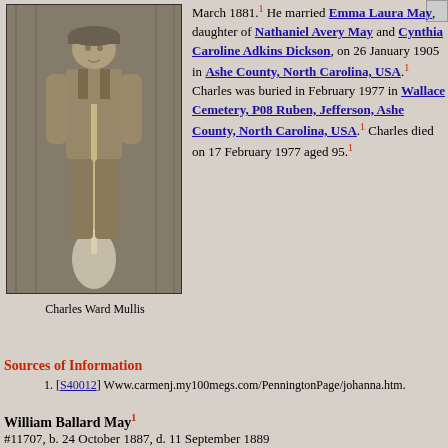[Figure (photo): Black and white photograph of Charles Ward Mullis, a man sitting holding a shovel or tool, wearing overalls and a cap]
Charles Ward Mullis
March 1881.1 He married Emma Laura May, daughter of Nathaniel Avery May and Cynthia Caroline Adkins Dickson, on 26 January 1905 in Ashe County, North Carolina, USA.1 Charles was buried in February 1977 in Wallace Cemetery, P08 Ruben, Jefferson, Ashe County, North Carolina, USA.1 Charles died on 17 February 1977 aged 95.1
Sources of Information
1. [S40012] Www.carmenj.my100megs.com/PenningtonPage/johanna.htm.
William Ballard May1 #11707, b. 24 October 1887, d. 11 September 1889